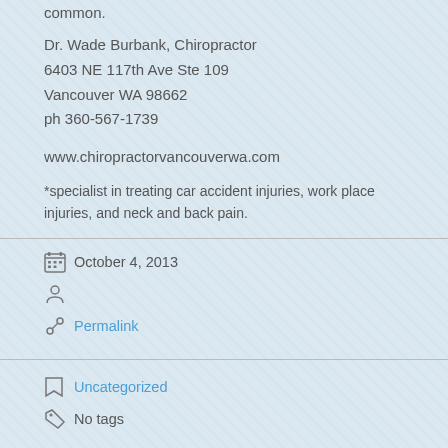common.
Dr. Wade Burbank, Chiropractor
6403 NE 117th Ave Ste 109
Vancouver WA 98662
ph 360-567-1739
www.chiropractorvancouverwa.com
*specialist in treating car accident injuries, work place injuries, and neck and back pain.
October 4, 2013
Permalink
Uncategorized
No tags
No Comments
635
0